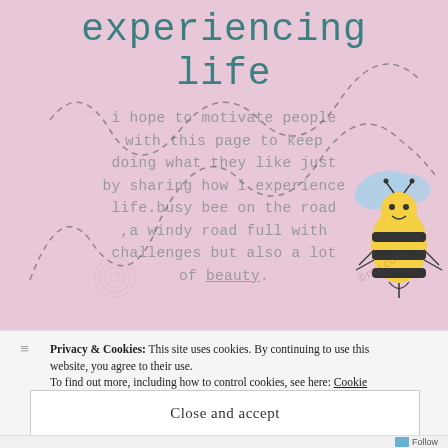[Figure (illustration): Pink/lavender background illustration with a cartoon bee and dashed winding path. Shows partial title 'experiencing life' in teal monospace font, body text about motivating people, a spiral decoration, and a watermark.]
i hope to motivate people with this page to keep doing what they like just by sharing how i experience life.busy bee on the road ,a windy road full with challenges but also a lot of beauty.
Privacy & Cookies: This site uses cookies. By continuing to use this website, you agree to their use.
To find out more, including how to control cookies, see here: Cookie Policy
Close and accept